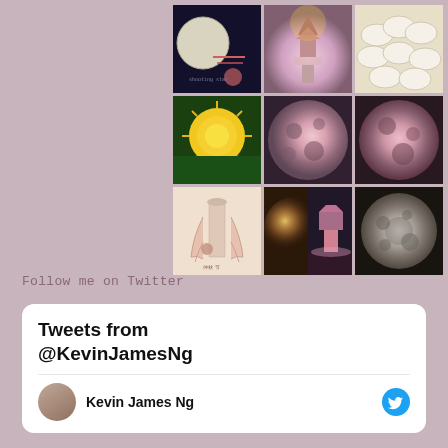[Figure (photo): 3x3 grid of Instagram-style photos including moon phases, pagoda artwork, dumplings, yellow flower, pink moon close-ups, anime-style drawing, and scenic night photos]
Follow me on Twitter
Tweets from @KevinJamesNg
Kevin James Ng